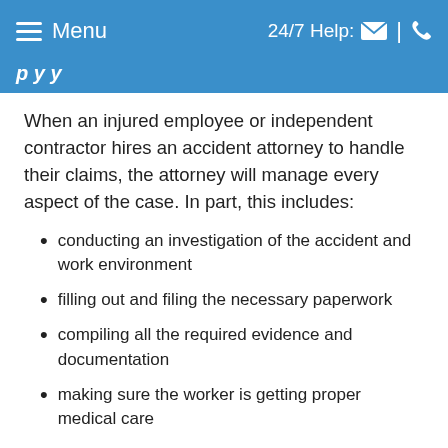Menu | 24/7 Help:
When an injured employee or independent contractor hires an accident attorney to handle their claims, the attorney will manage every aspect of the case. In part, this includes:
conducting an investigation of the accident and work environment
filling out and filing the necessary paperwork
compiling all the required evidence and documentation
making sure the worker is getting proper medical care